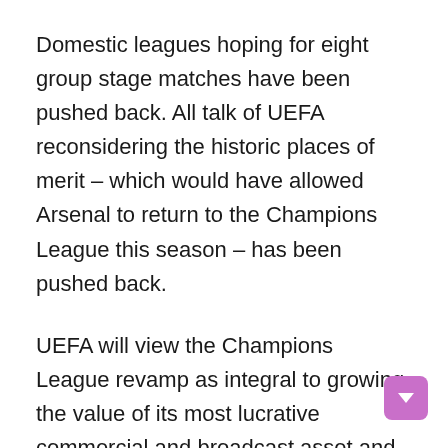Domestic leagues hoping for eight group stage matches have been pushed back. All talk of UEFA reconsidering the historic places of merit – which would have allowed Arsenal to return to the Champions League this season – has been pushed back.
UEFA will view the Champions League revamp as integral to growing the value of its most lucrative commercial and broadcast asset and to fending off future breakaway attempts.
Other changes are characterized as reacting to the perceived improvement in the financial viability of clubs after a decade of FFP by introducing a new regulatory system around